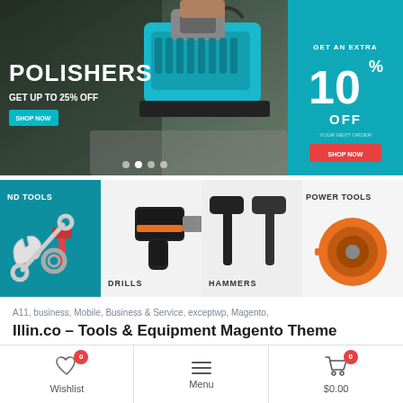[Figure (screenshot): Hero banner showing a polisher power tool on dark background with text POLISHERS, GET UP TO 25% OFF, and a teal Shop Now button. Navigation dots at bottom.]
[Figure (screenshot): Right side banner on teal background: GET AN EXTRA 10% OFF with a red Shop Now button]
[Figure (screenshot): Category row with 4 tiles: ND Tools (hand tools on teal), Drills (black and orange drill), Hammers (black hammers), Power Tools (orange power tools)]
A11, business, Mobile, Business & Service, exceptwp, Magento,
Illin.co – Tools & Equipment Magento Theme
$20.00 $179.00
Wishlist 0   Menu   $0.00 0